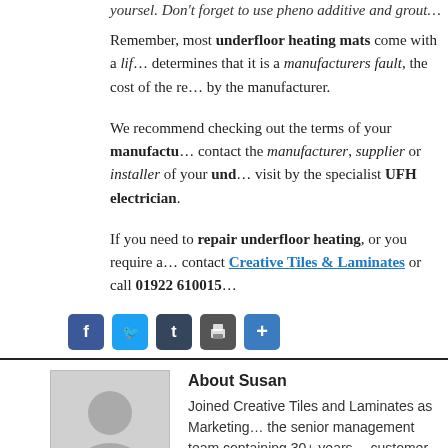yoursel. Don't forget to use pheno additive and grout…
Remember, most underfloor heating mats come with a lifetime guarantee. If an engineer determines that it is a manufacturers fault, the cost of the repair will normally be covered by the manufacturer.
We recommend checking out the terms of your manufacturer's warranty and if possible contact the manufacturer, supplier or installer of your underfloor heating to arrange a visit by the specialist UFH electrician.
If you need to repair underfloor heating, or you require a specialist UFH electrician, contact Creative Tiles & Laminates or call 01922 610015
[Figure (infographic): Social media share buttons: Facebook (blue), Twitter (light blue), Tumblr (dark), Print (grey), Share (blue plus)]
About Susan
[Figure (photo): Generic grey silhouette avatar placeholder image for author Susan]
Joined Creative Tiles and Laminates as Marketing Manager and is part of the senior management team containing 30+ years of experience in tiles and customer services.